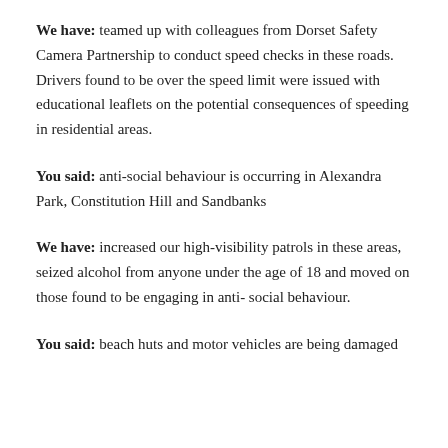We have: teamed up with colleagues from Dorset Safety Camera Partnership to conduct speed checks in these roads. Drivers found to be over the speed limit were issued with educational leaflets on the potential consequences of speeding in residential areas.
You said: anti-social behaviour is occurring in Alexandra Park, Constitution Hill and Sandbanks
We have: increased our high-visibility patrols in these areas, seized alcohol from anyone under the age of 18 and moved on those found to be engaging in anti- social behaviour.
You said: beach huts and motor vehicles are being damaged